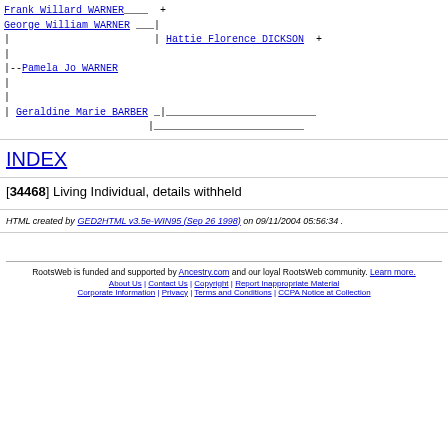[Figure (other): Genealogy pedigree chart showing family tree: Frank Willard WARNER + and Hattie Florence DICKSON + as parents of George William WARNER; Pamela Jo WARNER as subject; Geraldine Marie BARBER as mother with blank parents.]
INDEX
[34468] Living Individual, details withheld
HTML created by GED2HTML v3.5e-WIN95 (Sep 26 1998) on 09/11/2004 05:56:34 .
RootsWeb is funded and supported by Ancestry.com and our loyal RootsWeb community. Learn more. | About Us | Contact Us | Copyright | Report Inappropriate Material | Corporate Information | Privacy | Terms and Conditions | CCPA Notice at Collection